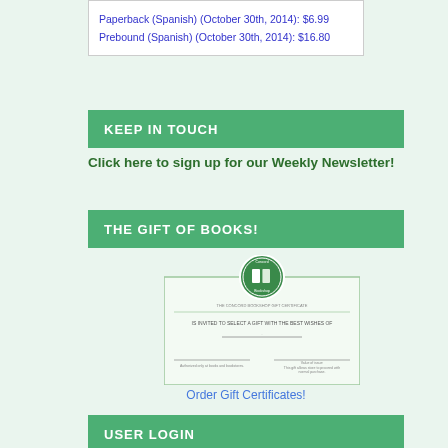Paperback (Spanish) (October 30th, 2014): $6.99
Prebound (Spanish) (October 30th, 2014): $16.80
KEEP IN TOUCH
Click here to sign up for our Weekly Newsletter!
THE GIFT OF BOOKS!
[Figure (illustration): A gift certificate from Concord Bookshop with a circular green logo at the top center. The certificate reads 'IS INVITED TO SELECT A GIFT WITH THE BEST WISHES OF' and has blank lines for name and gift of love.]
Order Gift Certificates!
USER LOGIN